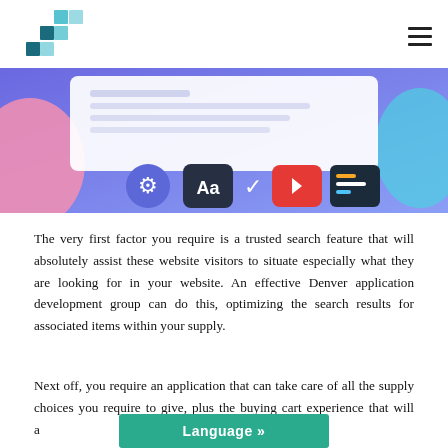[Logo] [Navigation menu icon]
[Figure (illustration): A digital illustration showing a web/app interface mockup with icons: a gear/settings icon, an Aa typography icon, a checkmark icon, a YouTube-style play button icon, and a code editor icon, on a purple/blue gradient background with decorative pink/teal shapes.]
The very first factor you require is a trusted search feature that will absolutely assist these website visitors to situate especially what they are looking for in your website. An effective Denver application development group can do this, optimizing the search results for associated items within your supply.
Next off, you require an application that can take care of all the supply choices you require to give, plus the buying cart experience that will a[…]ur website esthetics,